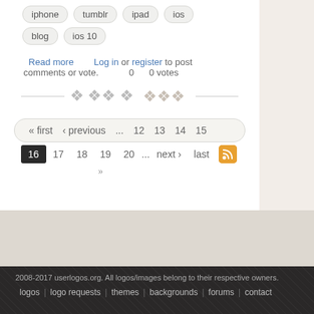Videos/Movies
iphone  tumblr  ipad  ios
blog  ios 10
Read more   Log in or register to post comments or vote.   0   0 votes
[Figure (other): Decorative ornamental divider with swirl design]
« first  ‹ previous  ...  12  13  14  15  16  17  18  19  20  ...  next ›  last  »
2008-2017 userlogos.org. All logos/images belong to their respective owners.
logos | logo requests | themes | backgrounds | forums | contact